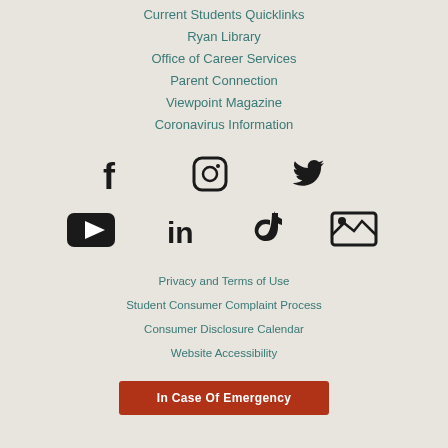Current Students Quicklinks
Ryan Library
Office of Career Services
Parent Connection
Viewpoint Magazine
Coronavirus Information
[Figure (infographic): Social media icons: Facebook, Instagram, Twitter, YouTube, LinkedIn, TikTok, Flickr/image gallery]
Privacy and Terms of Use
Student Consumer Complaint Process
Consumer Disclosure Calendar
Website Accessibility
In Case Of Emergency